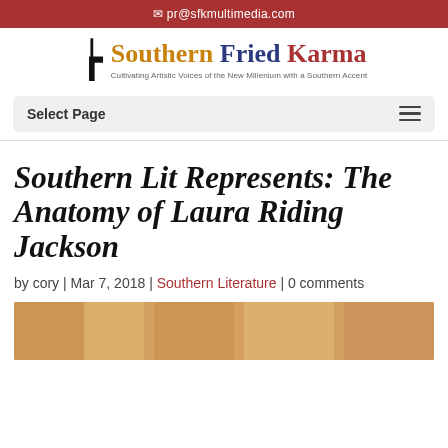pr@sfkmultimedia.com
[Figure (logo): Southern Fried Karma logo with trident symbol and tagline: Cultivating Artistic Voices of the New Milennium with a Southern Accent]
Select Page
Southern Lit Represents: The Anatomy of Laura Riding Jackson
by cory | Mar 7, 2018 | Southern Literature | 0 comments
[Figure (photo): Partial anatomical illustration with vintage style, warm sepia/tan background showing figures]